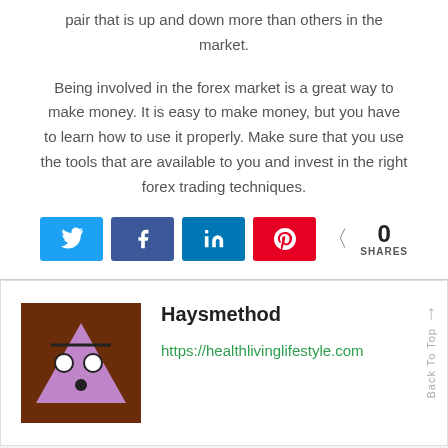pair that is up and down more than others in the market.
Being involved in the forex market is a great way to make money. It is easy to make money, but you have to learn how to use it properly. Make sure that you use the tools that are available to you and invest in the right forex trading techniques.
[Figure (other): Social share buttons: Twitter, Facebook, LinkedIn, Pinterest, and share count showing 0 SHARES]
[Figure (other): Author box with avatar image (Haysmethod logo - triangle on brown background), author name 'Haysmethod', and URL https://healthlivinglifestyle.com]